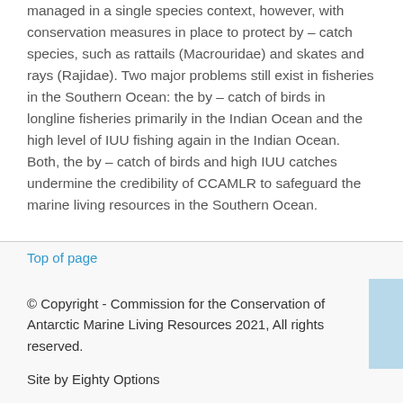managed in a single species context, however, with conservation measures in place to protect by – catch species, such as rattails (Macrouridae) and skates and rays (Rajidae). Two major problems still exist in fisheries in the Southern Ocean: the by – catch of birds in longline fisheries primarily in the Indian Ocean and the high level of IUU fishing again in the Indian Ocean. Both, the by – catch of birds and high IUU catches undermine the credibility of CCAMLR to safeguard the marine living resources in the Southern Ocean.
Top of page
© Copyright - Commission for the Conservation of Antarctic Marine Living Resources 2021, All rights reserved.
Site by Eighty Options